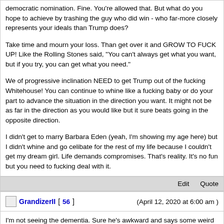democratic nomination. Fine. You're allowed that. But what do you hope to achieve by trashing the guy who did win - who far-more closely represents your ideals than Trump does?

Take time and mourn your loss. Than get over it and GROW TO FUCK UP! Like the Rolling Stones said, "You can't always get what you want, but if you try, you can get what you need."

We of progressive inclination NEED to get Trump out of the fucking Whitehouse! You can continue to whine like a fucking baby or do your part to advance the situation in the direction you want. It might not be as far in the direction as you would like but it sure beats going in the opposite direction.

I didn't get to marry Barbara Eden (yeah, I'm showing my age here) but I didn't whine and go celibate for the rest of my life because I couldn't get my dream girl. Life demands compromises. That's reality. It's no fun but you need to fucking deal with it.
Edit   Quote
GrandizerII [ 56 ]   (April 12, 2020 at 6:00 am )
I'm not seeing the dementia. Sure he's awkward and says some weird shit, but it doesn't necessarily mean he has dementia just because he's